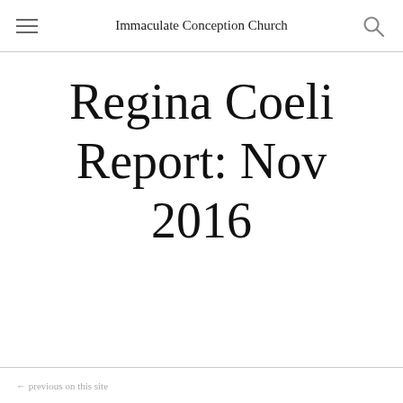Immaculate Conception Church
Regina Coeli Report: Nov 2016